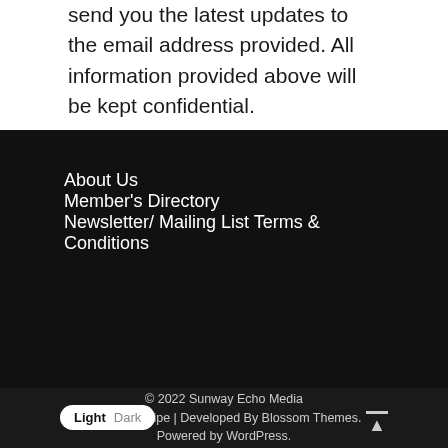send you the latest updates to the email address provided. All information provided above will be kept confidential.
About Us
Member's Directory
Newsletter/ Mailing List Terms & Conditions
© 2022 Sunway Echo Media
Tummy Recipe | Developed By Blossom Themes.
Powered by WordPress.